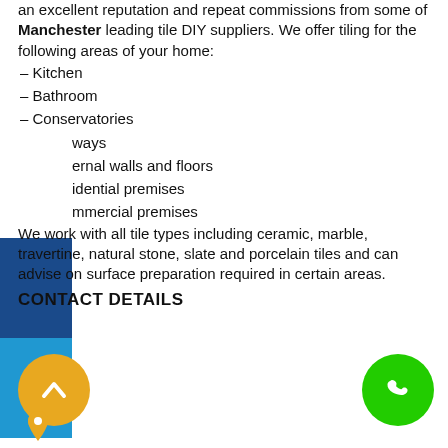an excellent reputation and repeat commissions from some of Manchester leading tile DIY suppliers. We offer tiling for the following areas of your home:
– Kitchen
– Bathroom
– Conservatories
– [Hall]ways
– [Int/Ext]ernal walls and floors
– [Res]idential premises
– [Com]mercial premises
We work with all tile types including ceramic, marble, travertine, natural stone, slate and porcelain tiles and can advise on surface preparation required in certain areas.
CONTACT DETAILS
[Figure (infographic): Yellow circle with upward chevron arrow icon (scroll to top button) and green circle with phone handset icon (call button), plus a location pin icon at bottom left]